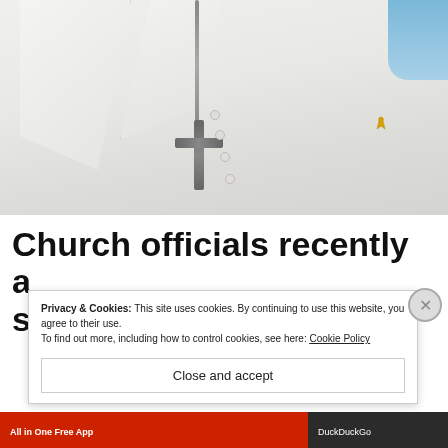[Figure (photo): Close-up photo of a person in white papal vestments wearing a silver crucifix necklace and a small yellow ribbon pin on the chest. Blue sky visible in upper right corner.]
Church officials recently a... s...
Privacy & Cookies: This site uses cookies. By continuing to use this website, you agree to their use.
To find out more, including how to control cookies, see here: Cookie Policy
Close and accept